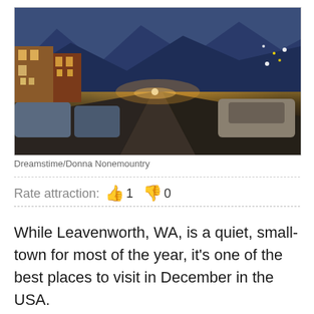[Figure (photo): Night street view of Leavenworth, WA decorated with Christmas lights, Bavarian-style buildings, snow-capped mountains in background, cars parked on both sides of the street, holiday lighting on trees.]
Dreamstime/Donna Nonemountry
Rate attraction:  👍 1  👎 0
While Leavenworth, WA, is a quiet, small-town for most of the year, it's one of the best places to visit in December in the USA.

It's a famous Christmas town where lights, holiday celebrations, and Santa Claus keep